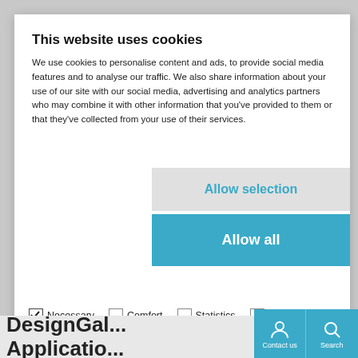This website uses cookies
We use cookies to personalise content and ads, to provide social media features and to analyse our traffic. We also share information about your use of our site with our social media, advertising and analytics partners who may combine it with other information that you've provided to them or that they've collected from your use of their services.
Allow selection
Allow all
✓ Necessary  ☐ Comfort  ☐ Statistics  ☐ Marketing  Show details
DesignGal... Applicatio...